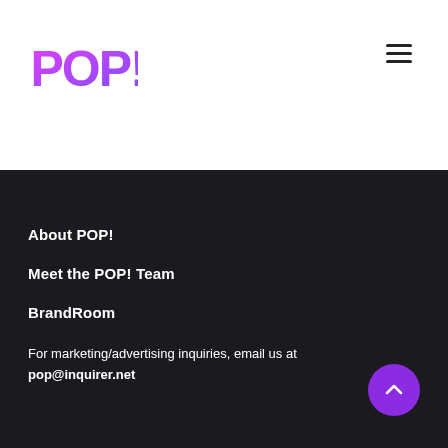[Figure (logo): POP! logo in pink/purple gradient bubble letters with exclamation mark]
[Figure (other): Hamburger menu icon (three horizontal lines)]
About POP!
Meet the POP! Team
BrandRoom
For marketing/advertising inquiries, email us at pop@inquirer.net